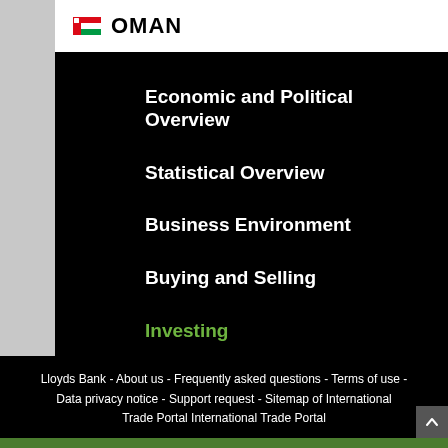OMAN
Economic and Political Overview
Statistical Overview
Business Environment
Buying and Selling
Investing
Operating a Business
Lloyds Bank - About us - Frequently asked questions - Terms of use - Data privacy notice - Support request - Sitemap of International Trade Portal International Trade Portal